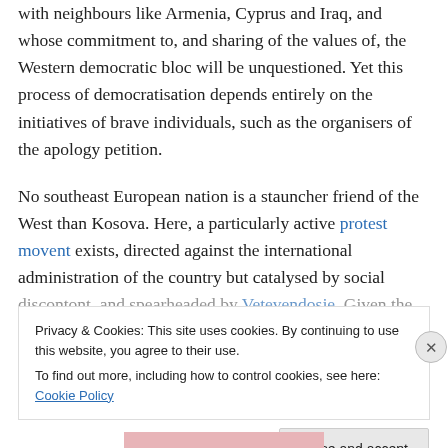with neighbours like Armenia, Cyprus and Iraq, and whose commitment to, and sharing of the values of, the Western democratic bloc will be unquestioned. Yet this process of democratisation depends entirely on the initiatives of brave individuals, such as the organisers of the apology petition.
No southeast European nation is a stauncher friend of the West than Kosova. Here, a particularly active protest movent exists, directed against the international administration of the country but catalysed by social discontont, and spearheaded by Vetevendosje. Given the
Privacy & Cookies: This site uses cookies. By continuing to use this website, you agree to their use.
To find out more, including how to control cookies, see here: Cookie Policy